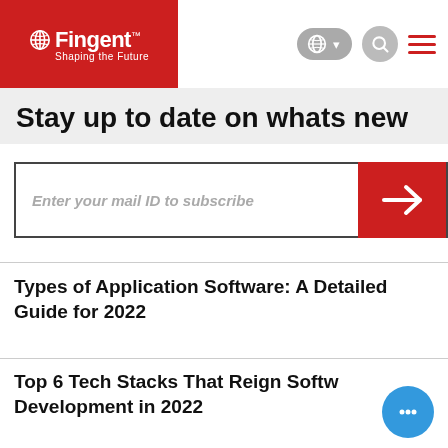Fingent — Shaping the Future
Stay up to date on whats new
Enter your mail ID to subscribe
Types of Application Software: A Detailed Guide for 2022
Top 6 Tech Stacks That Reign Software Development in 2022